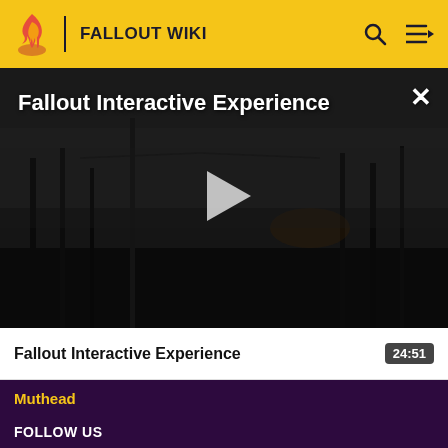FALLOUT WIKI
[Figure (screenshot): Dark post-apocalyptic video thumbnail showing a foggy wasteland with silhouettes of bare trees and structures. White text overlay reads 'Fallout Interactive Experience'. A large white play button triangle is centered. A white X close button is in the top right corner.]
Fallout Interactive Experience   24:51
Muthead
FOLLOW US